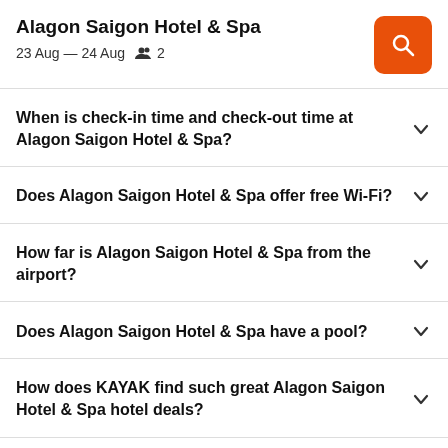Alagon Saigon Hotel & Spa
23 Aug — 24 Aug  👥 2
When is check-in time and check-out time at Alagon Saigon Hotel & Spa?
Does Alagon Saigon Hotel & Spa offer free Wi-Fi?
How far is Alagon Saigon Hotel & Spa from the airport?
Does Alagon Saigon Hotel & Spa have a pool?
How does KAYAK find such great Alagon Saigon Hotel & Spa hotel deals?